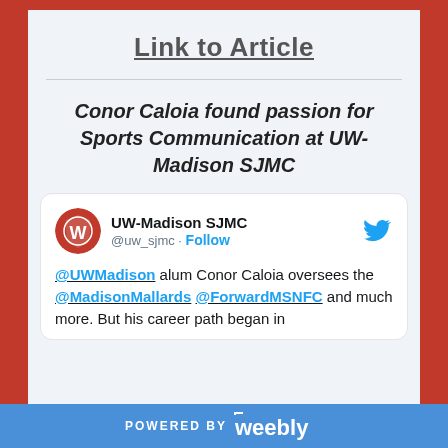Link to Article
Conor Caloia found passion for Sports Communication at UW-Madison SJMC
[Figure (screenshot): Embedded tweet from @uw_sjmc (UW-Madison SJMC) with Twitter bird icon, avatar showing UW-Madison logo, account name 'UW-Madison SJMC', handle '@uw_sjmc · Follow', and tweet text: '@UWMadison alum Conor Caloia oversees the @MadisonMallards @ForwardMSNFC and much more. But his career path began in']
POWERED BY weebly